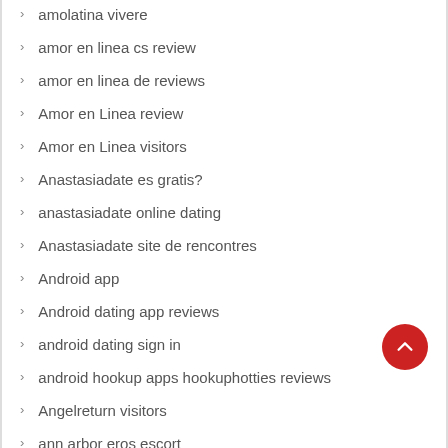amolatina vivere
amor en linea cs review
amor en linea de reviews
Amor en Linea review
Amor en Linea visitors
Anastasiadate es gratis?
anastasiadate online dating
Anastasiadate site de rencontres
Android app
Android dating app reviews
android dating sign in
android hookup apps hookuphotties reviews
Angelreturn visitors
ann arbor eros escort
AntiChat reviews
anon dating sites